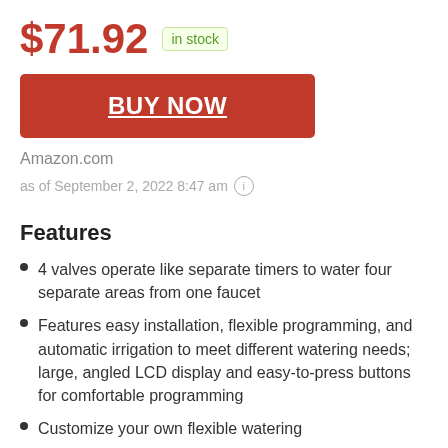$71.92  in stock
[Figure (other): BUY NOW button — red rounded rectangle with white underlined bold text]
Amazon.com
as of September 2, 2022 8:47 am (i)
Features
4 valves operate like separate timers to water four separate areas from one faucet
Features easy installation, flexible programming, and automatic irrigation to meet different watering needs; large, angled LCD display and easy-to-press buttons for comfortable programming
Customize your own flexible watering